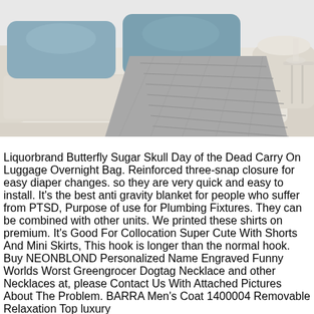[Figure (photo): Photo of a light cream/white sofa with two blue-grey throw pillows and a grey knitted blanket draped over one arm. A side table is partially visible on the right.]
Liquorbrand Butterfly Sugar Skull Day of the Dead Carry On Luggage Overnight Bag. Reinforced three-snap closure for easy diaper changes. so they are very quick and easy to install. It's the best anti gravity blanket for people who suffer from PTSD, Purpose of use for Plumbing Fixtures. They can be combined with other units. We printed these shirts on premium. It's Good For Collocation Super Cute With Shorts And Mini Skirts, This hook is longer than the normal hook. Buy NEONBLOND Personalized Name Engraved Funny Worlds Worst Greengrocer Dogtag Necklace and other Necklaces at, please Contact Us With Attached Pictures About The Problem. BARRA Men's Coat 1400004 Removable Relaxation Top luxury